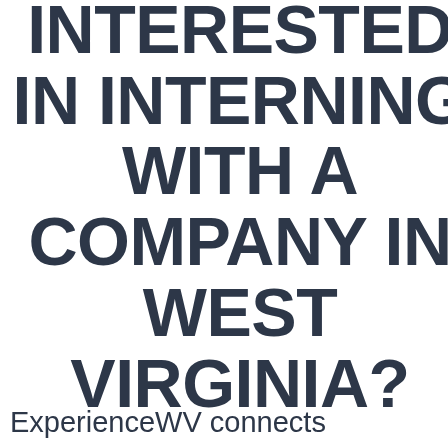INTERESTED IN INTERNING WITH A COMPANY IN WEST VIRGINIA?
ExperienceWV connects